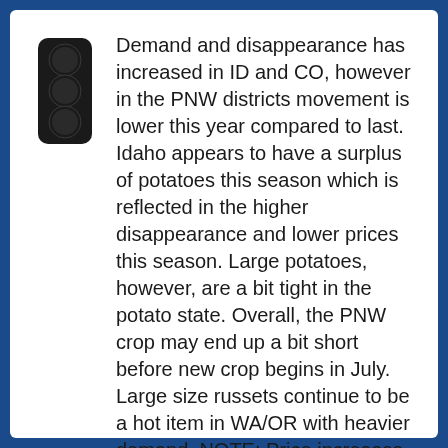[Figure (other): Black traffic light icon (stoplight with three circular lights)]
Demand and disappearance has increased in ID and CO, however in the PNW districts movement is lower this year compared to last. Idaho appears to have a surplus of potatoes this season which is reflected in the higher disappearance and lower prices this season. Large potatoes, however, are a bit tight in the potato state. Overall, the PNW crop may end up a bit short before new crop begins in July. Large size russets continue to be a hot item in WA/OR with heavier demand. NOTE: Price increases on Large tubers are expected over the months to come due in part to supply and quality concerns as well as food service sector opening up over the summer. Quality remains outstanding.